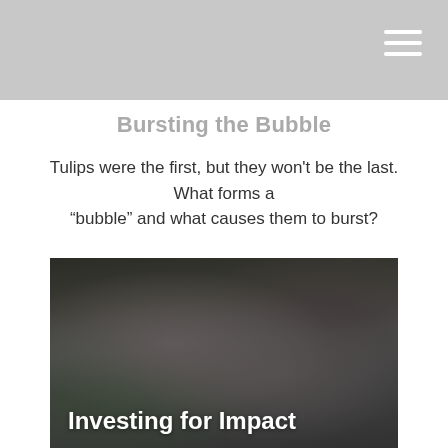Bursting the Bubble
Tulips were the first, but they won't be the last. What forms a “bubble” and what causes them to burst?
[Figure (photo): An older Asian couple smiling, looking at a laptop screen together, in a warmly lit interior with plants in the background. Overlaid text reads 'Investing for Impact'.]